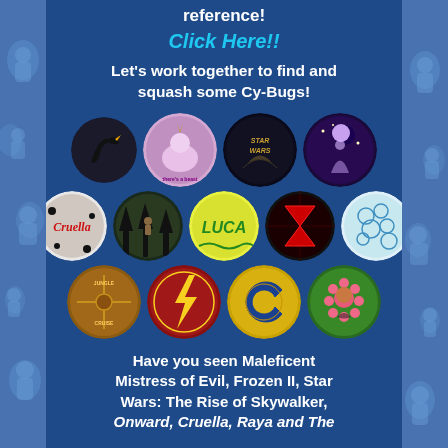reference!
Click Here!!
Let's work together to find and squash some Cy-Bugs!
[Figure (illustration): Grid of 13 circular Disney/Pixar movie badge pins including Maleficent Mistress of Evil (raven), Unicorn movie badge, Star Wars, Frozen II, Cruella, Jungle Cruise, Luca, and other Disney movie badges arranged in 3 rows]
Have you seen Maleficent Mistress of Evil, Frozen II, Star Wars: The Rise of Skywalker, Onward, Cruella, Raya and The